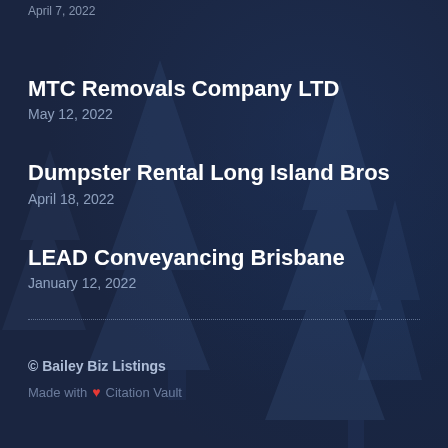April 7, 2022
MTC Removals Company LTD
May 12, 2022
Dumpster Rental Long Island Bros
April 18, 2022
LEAD Conveyancing Brisbane
January 12, 2022
© Bailey Biz Listings
Made with ❤ Citation Vault